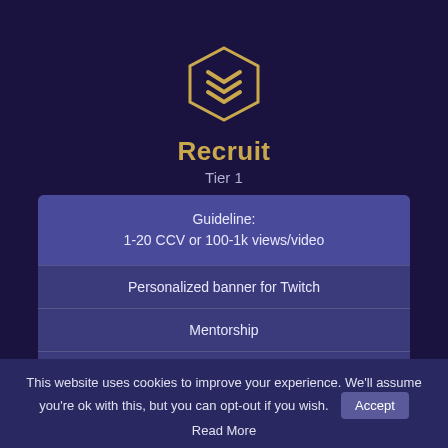[Figure (illustration): Hexagonal badge/shield icon with gold chevron arrows on dark purple background]
Recruit
Tier 1
Guideline:
1-20 CCV or 100-1k views/video
Personalized banner for Twitch
Mentorship
Monthly Contests
Tournament Invites
Random monthly promotion
This website uses cookies to improve your experience. We'll assume you're ok with this, but you can opt-out if you wish. Accept
Read More